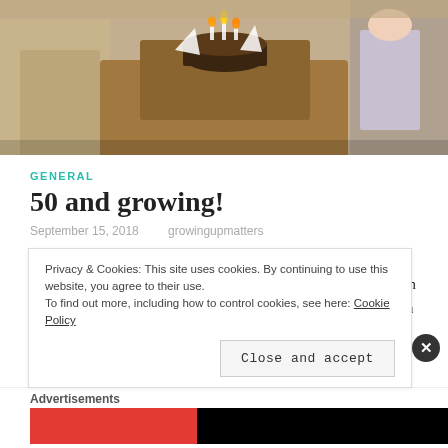[Figure (photo): Birthday cake on a wooden table with people seated around it, tan/khaki clothing visible]
GENERAL
50 and growing!
September 15, 2018   growingupmatters
The number 50 does feel a milestone of sorts on many occasions and hitting that number gives one a great high! I am no different here, so when I sit writing my 50 th post, it's with a sense of a good bit of consistency on my part! My start
Privacy & Cookies: This site uses cookies. By continuing to use this website, you agree to their use.
To find out more, including how to control cookies, see here: Cookie Policy
Close and accept
Advertisements